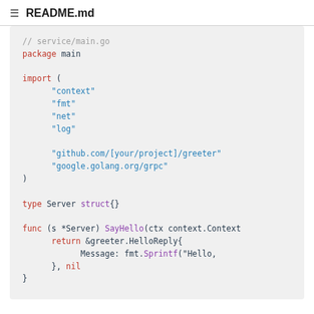README.md
// service/main.go
package main

import (
	"context"
	"fmt"
	"net"
	"log"

	"github.com/[your/project]/greeter"
	"google.golang.org/grpc"
)

type Server struct{}

func (s *Server) SayHello(ctx context.Context
	return &greeter.HelloReply{
			Message: fmt.Sprintf("Hello,
	}, nil
}